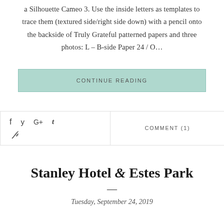a Silhouette Cameo 3. Use the inside letters as templates to trace them (textured side/right side down) with a pencil onto the backside of Truly Grateful patterned papers and three photos: L – B-side Paper 24 / O…
CONTINUE READING
f  y  G+  t  𝓅   COMMENT (1)
Stanley Hotel & Estes Park
Tuesday, September 24, 2019